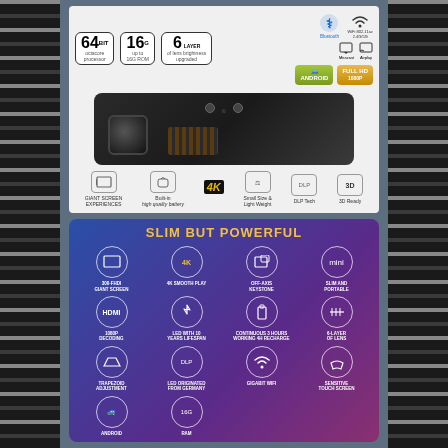[Figure (photo): Product listing page for a portable DLP 4K projector. Top section shows product specs: 64-bit processor, 16G RAM, 6-layer lens. Bluetooth and WiFi 802.11ac 2.4G/5G connectivity. Android OS, Full HD 1080p. Airplay and Miracast icons. Central image of a black compact projector device. Bottom row shows feature icons: Giant Screen Experience, Built-in High Quality Battery, 4K, Small Size & Light Weight, DLP Tech, 3D Ready. Second section shows 'SLIM BUT POWERFUL' banner on blue/purple gradient background with 8 feature icons: 300-FHDI Giant Screen, 4K Smooth Play, Off-Axis Keystone, Slim and Portable, HDMI 1080P Decoding, LED with 10 Years Lifespan, Continuous 3 Hours Working with 4 Hour Recharge, 6-Layer of Lens, Trapezoid Adjustment, LED Originated from Germany, Gigabit WiFi, Sensitive Touch Screen, and additional icons for Android and RAM.]